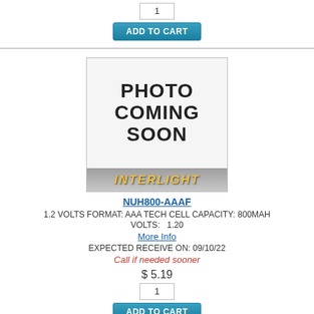[Figure (other): Add to Cart button with quantity box showing 1]
[Figure (photo): Photo Coming Soon placeholder image with Interlight branding]
NUH800-AAAF
1.2 VOLTS FORMAT: AAA TECH CELL CAPACITY: 800MAH
VOLTS:   1.20
More Info
EXPECTED RECEIVE ON: 09/10/22
Call if needed sooner
$ 5.19
[Figure (other): Quantity box showing 1 and Add to Cart button]
[Figure (photo): Photo Coming Soon placeholder image with Interlight branding (partial, bottom of page)]
NUN1100-AAG
[Figure (other): Live Help OFFLINE - LEAVE A MESSAGE chat widget]